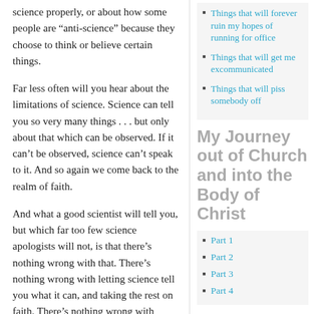science properly, or about how some people are “anti-science” because they choose to think or believe certain things.
Far less often will you hear about the limitations of science. Science can tell you so very many things . . . but only about that which can be observed. If it can’t be observed, science can’t speak to it. And so again we come back to the realm of faith.
And what a good scientist will tell you, but which far too few science apologists will not, is that there’s nothing wrong with that. There’s nothing wrong with letting science tell you what it can, and taking the rest on faith. There’s nothing wrong with learning as much as you possibly can from your own observation, your own reason, and your own intuition . . . and then letting your heart guide you to that which
Things that will forever ruin my hopes of running for office
Things that will get me excommunicated
Things that will piss somebody off
My Journey out of Church and into the Body of Christ
Part 1
Part 2
Part 3
Part 4